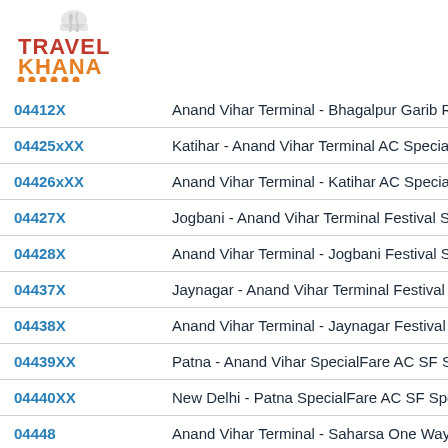[Figure (logo): TravelKhana logo with chef hat icon, red TRAVEL text, orange KHANA text, orange dots underline]
| Train Number | Train Name |
| --- | --- |
| 04412X | Anand Vihar Terminal - Bhagalpur Garib Rath |
| 04425xXX | Katihar - Anand Vihar Terminal AC Special F |
| 04426xXX | Anand Vihar Terminal - Katihar AC Special F |
| 04427X | Jogbani - Anand Vihar Terminal Festival Spe |
| 04428X | Anand Vihar Terminal - Jogbani Festival Spe |
| 04437X | Jaynagar - Anand Vihar Terminal Festival Sp |
| 04438X | Anand Vihar Terminal - Jaynagar Festival Sp |
| 04439XX | Patna - Anand Vihar SpecialFare AC SF Spec |
| 04440XX | New Delhi - Patna SpecialFare AC SF Specia |
| 04448 | Anand Vihar Terminal - Saharsa One Way Fe |